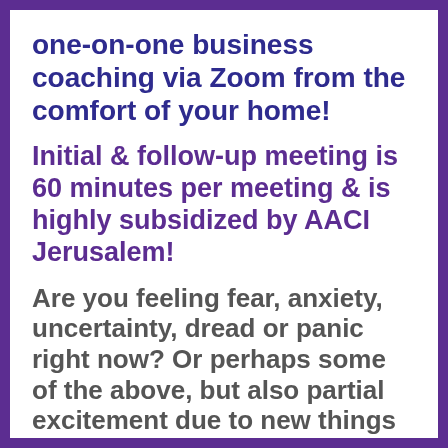one-on-one business coaching via Zoom from the comfort of your home!
Initial & follow-up meeting is 60 minutes per meeting & is highly subsidized by AACI Jerusalem!
Are you feeling fear, anxiety, uncertainty, dread or panic right now? Or perhaps some of the above, but also partial excitement due to new things you've started during this period? Has this period made you stronger, better & more